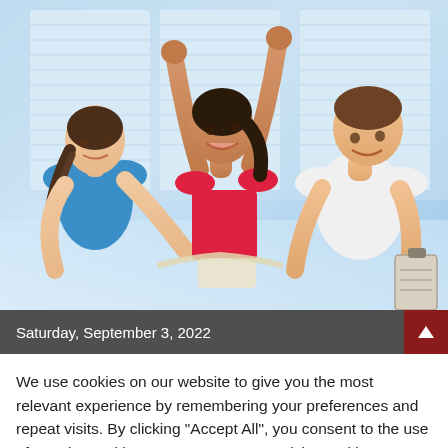[Figure (photo): Three people in a gym/fitness setting. A woman in a blue top on the left holds a measuring tape around the waist of a smiling woman in a red crop top in the center who has her arms raised in celebration. A man in a white t-shirt on the right holds a clipboard and looks down. Bright, modern gym background with large windows.]
Saturday, September 3, 2022
We use cookies on our website to give you the most relevant experience by remembering your preferences and repeat visits. By clicking "Accept All", you consent to the use of ALL the cookies. However, you may visit "Cookie